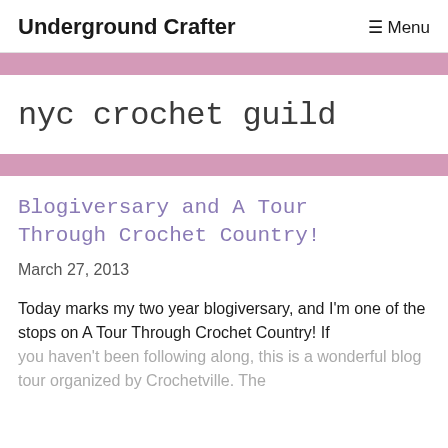Underground Crafter — Menu
nyc crochet guild
Blogiversary and A Tour Through Crochet Country!
March 27, 2013
Today marks my two year blogiversary, and I'm one of the stops on A Tour Through Crochet Country!  If you haven't been following along, this is a wonderful blog tour organized by Crochetville. The